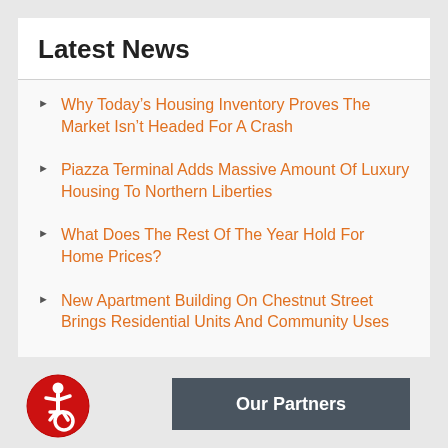Latest News
Why Today's Housing Inventory Proves The Market Isn't Headed For A Crash
Piazza Terminal Adds Massive Amount Of Luxury Housing To Northern Liberties
What Does The Rest Of The Year Hold For Home Prices?
New Apartment Building On Chestnut Street Brings Residential Units And Community Uses
[Figure (logo): Red circular accessibility icon with wheelchair user symbol in white]
Our Partners